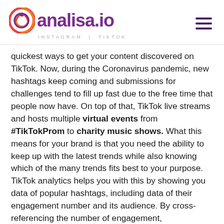[Figure (logo): analisa.io logo with circular icon on the left and text 'analisa.io' in purple, subtitle 'INSTAGRAM | TIKTOK' below]
quickest ways to get your content discovered on TikTok. Now, during the Coronavirus pandemic, new hashtags keep coming and submissions for challenges tend to fill up fast due to the free time that people now have. On top of that, TikTok live streams and hosts multiple virtual events from #TikTokProm to charity music shows. What this means for your brand is that you need the ability to keep up with the latest trends while also knowing which of the many trends fits best to your purpose. TikTok analytics helps you with this by showing you data of popular hashtags, including data of their engagement number and its audience. By cross-referencing the number of engagement,